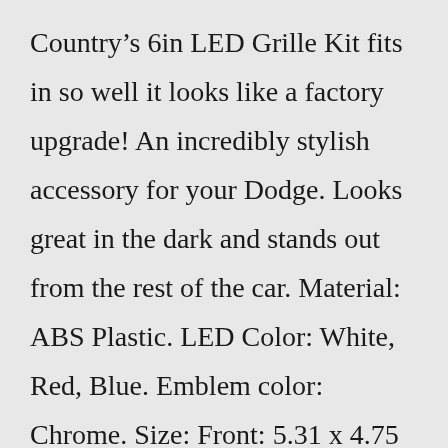Country's 6in LED Grille Kit fits in so well it looks like a factory upgrade! An incredibly stylish accessory for your Dodge. Looks great in the dark and stands out from the rest of the car. Material: ABS Plastic. LED Color: White, Red, Blue. Emblem color: Chrome. Size: Front: 5.31 x 4.75 inch (135x120 mm). Rear: 5.98 x 5.59 inch (152x142 mm). There is adhesive tape on the back of the emblem for installation. in